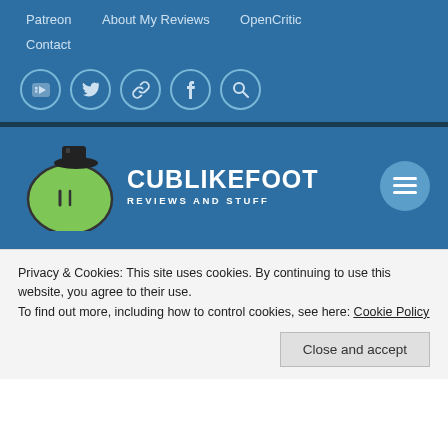Patreon   About My Reviews   OpenCritic   Contact
[Figure (screenshot): Social media icon buttons (YouTube, Twitter, link, Facebook, search) as circular icons on blue background]
[Figure (logo): Cublikefoot Reviews and Stuff logo — green blob character with top hat and the text CUBLIKEFOOT REVIEWS AND STUFF on blue background]
KickBeat Steam Edition
Privacy & Cookies: This site uses cookies. By continuing to use this website, you agree to their use.
To find out more, including how to control cookies, see here: Cookie Policy
Close and accept
[Figure (photo): Partial image at bottom of page, gray/dark tones, partially visible]